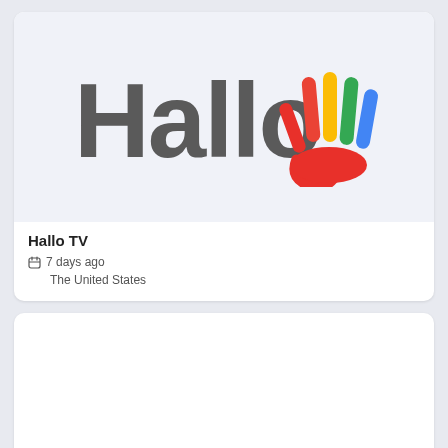[Figure (logo): Hallo TV logo — the word 'Hallo' in bold dark gray rounded sans-serif font, with a colorful waving hand graphic to the right using red, yellow, green, and blue fingers]
Hallo TV
7 days ago
The United States
[Figure (other): Second card with a light blue-gray empty image area]